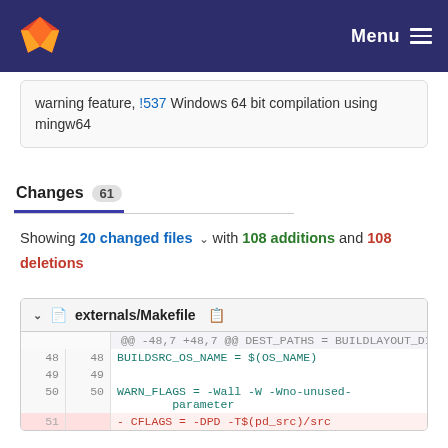Menu
warning feature, !537 Windows 64 bit compilation using mingw64
Changes 61
Showing 20 changed files with 108 additions and 108 deletions
externals/Makefile
| old | new | code |
| --- | --- | --- |
| ... | ... | @@ -48,7 +48,7 @@ DEST_PATHS = BUILDLAYOUT_DIR=$(BUILDLAYOUT_DIR) \ |
| 48 | 48 | BUILDSRC_OS_NAME = $(OS_NAME) |
| 49 | 49 |  |
| 50 | 50 | WARN_FLAGS = -Wall -W -Wno-unused-parameter |
| 51 |  | - CFLAGS = -DPD -T$(pd_src)/src |